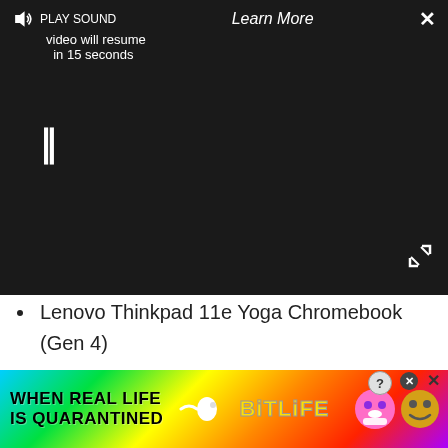[Figure (screenshot): Video ad overlay showing PLAY SOUND button with speaker icon, 'Learn More' text, close X button, 'video will resume in 15 seconds' subtitle, pause (||) button in center, and expand arrows at bottom right. Dark background.]
Lenovo Thinkpad 11e Yoga Chromebook (Gen 4)
Lenovo Thinkpad 13
Samsung
Samsung Chromebook 3
Samsung Chromebook Plus
Samsung Chromebook Pro
Chromebooks with Android
[Figure (screenshot): BitLife banner advertisement with rainbow gradient background, text 'WHEN REAL LIFE IS QUARANTINED', sperm icon, BitLife logo in yellow, emoji characters with masks, close and question mark buttons.]